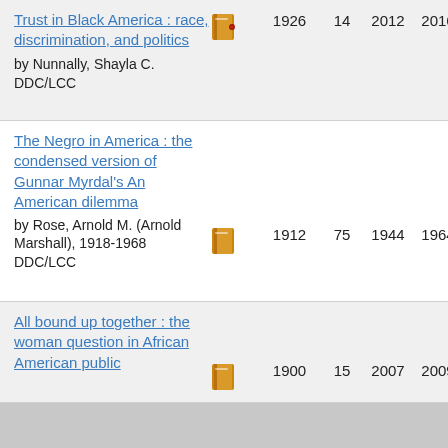| Title/Author | Icon | Holdings | Count | Year1 | Year2 |
| --- | --- | --- | --- | --- | --- |
| Trust in Black America : race, discrimination, and politics by Nunnally, Shayla C. DDC/LCC | book | 1926 | 14 | 2012 | 2016 |
| The Negro in America : the condensed version of Gunnar Myrdal's An American dilemma by Rose, Arnold M. (Arnold Marshall), 1918-1968 DDC/LCC | book | 1912 | 75 | 1944 | 1964 |
| All bound up together : the woman question in African American public | book | 1900 | 15 | 2007 | 2009 |